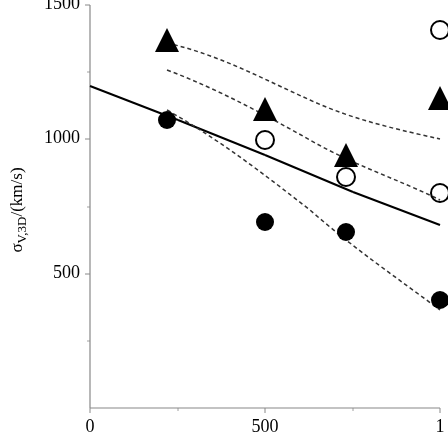[Figure (continuous-plot): Scatter plot with continuous curves showing sigma_V,3D (km/s) on y-axis vs an x-axis variable (0 to ~1000+). Y-axis tick labels: 500, 1000, 1500. X-axis labels visible: 0, 500, 1 (truncated). Data points shown as filled circles, filled triangles, and open circles. A solid line and dotted envelope curves are drawn through/around the data.]